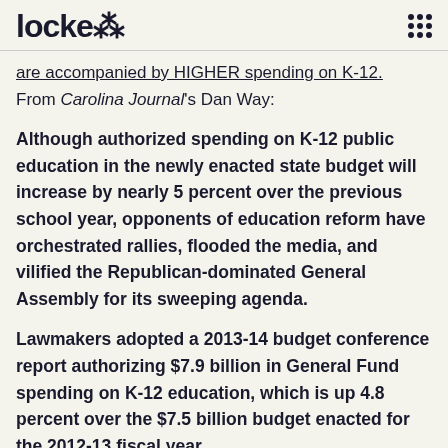locke (logo with flame icon) and menu dots
are accompanied by HIGHER spending on K-12.
From Carolina Journal's Dan Way:
Although authorized spending on K-12 public education in the newly enacted state budget will increase by nearly 5 percent over the previous school year, opponents of education reform have orchestrated rallies, flooded the media, and vilified the Republican-dominated General Assembly for its sweeping agenda.
Lawmakers adopted a 2013-14 budget conference report authorizing $7.9 billion in General Fund spending on K-12 education, which is up 4.8 percent over the $7.5 billion budget enacted for the 2012-13 fiscal year.